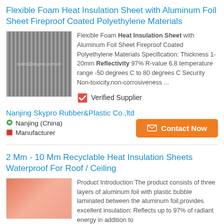Flexible Foam Heat Insulation Sheet with Aluminum Foil Sheet Fireproof Coated Polyethylene Materials
[Figure (photo): Photo of metallic ribbed/corrugated aluminum foil insulation sheet with watermark text]
Flexible Foam Heat Insulation Sheet with Aluminum Foil Sheet Fireproof Coated Polyethylene Materials Specification: Thickness 1-20mm Reflectivity 97% R-value 6.8 temperature range -50 degrees C to 80 degrees C Security Non-toxicity,non-corrosiveness ...
✅ Verified Supplier
Nanjing Skypro Rubber&Plastic Co.,ltd
📍 Nanjing (China)
🧱 Manufacturer
✉ Contact Now
2 Mm - 10 Mm Recyclable Heat Insulation Sheets Waterproof For Roof / Ceiling
[Figure (photo): Photo of pink/salmon colored heat insulation sheets stacked together]
Product Introduction The product consists of three layers of aluminum foil with plastic bubble laminated between the aluminum foil,provides excellent insulation: Reflects up to 97% of radiant energy in addition to